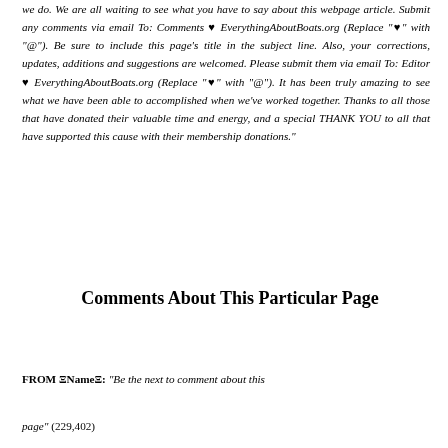we do. We are all waiting to see what you have to say about this webpage article. Submit any comments via email To: Comments ♥ EverythingAboutBoats.org (Replace "♥" with "@"). Be sure to include this page's title in the subject line. Also, your corrections, updates, additions and suggestions are welcomed. Please submit them via email To: Editor ♥ EverythingAboutBoats.org (Replace "♥" with "@"). It has been truly amazing to see what we have been able to accomplished when we've worked together. Thanks to all those that have donated their valuable time and energy, and a special THANK YOU to all that have supported this cause with their membership donations."
Comments About This Particular Page
FROM ΞNameΞ: "Be the next to comment about this